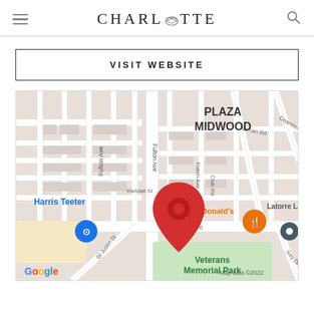CHARLOTTE
VISIT WEBSITE
[Figure (map): Google Maps screenshot showing Plaza Midwood neighborhood in Charlotte, NC. Shows Central Ave, Fulton Ave, Randall St, St Julien St, Truman Rd, Club Rd, Dearmon Dr, Ivey Dr. Landmarks visible: Harris Teeter (blue pin), McDonald's (orange pin), Latorre Law Firm (dark pin), Veterans Memorial Park (green area). A red location pin is centered on the map near McDonald's. Google logo and 'Map data ©2022' shown at bottom.]